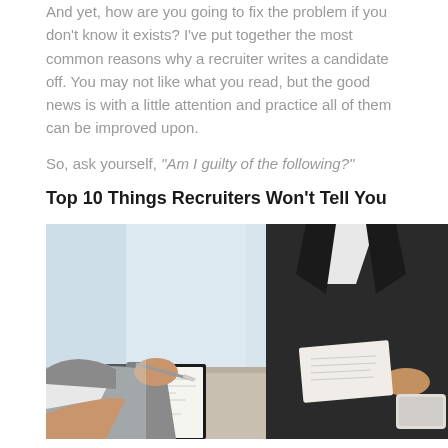And yet, how are you going to fix the problem if you don't know it exists? I've put together the most common reasons why a recruiter writes a candidate off. You may not like what you read, but the good news is with a little attention and practice all of them can be improved upon.
So, ask yourself, "Am I guilty of the following?"
Top 10 Things Recruiters Won't Tell You
[Figure (photo): A job interview scene showing two people at a desk. On the left, a candidate's hands are visible holding a pen over a clipboard with documents. On the right, a recruiter in a dark suit is holding papers/resume. The setting appears to be a bright office environment.]